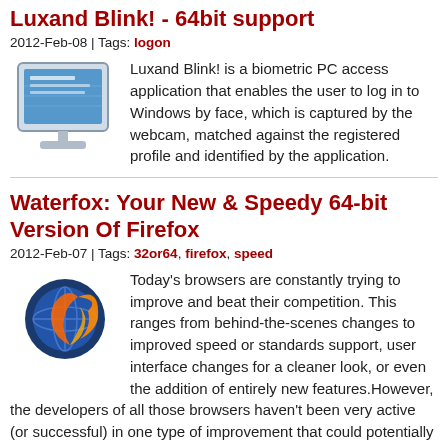Luxand Blink! - 64bit support
2012-Feb-08 | Tags: logon
Luxand Blink! is a biometric PC access application that enables the user to log in to Windows by face, which is captured by the webcam, matched against the registered profile and identified by the application.
Waterfox: Your New & Speedy 64-bit Version Of Firefox
2012-Feb-07 | Tags: 32or64, firefox, speed
Today's browsers are constantly trying to improve and beat their competition. This ranges from behind-the-scenes changes to improved speed or standards support, user interface changes for a cleaner look, or even the addition of entirely new features.However, the developers of all those browsers haven't been very active (or successful) in one type of improvement that could potentially bring some massive results: going from 32-bit to 64-bit.